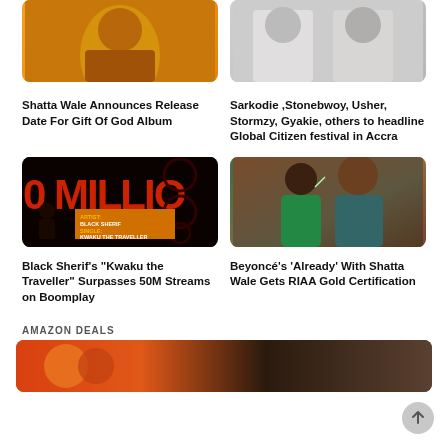[Figure (photo): Cropped photo of Shatta Wale, orange/warm tones]
Shatta Wale Announces Release Date For Gift Of God Album
[Figure (photo): Cropped photo of artists in white clothing]
Sarkodie ,Stonebwoy, Usher, Stormzy, Gyakie, others to headline Global Citizen festival in Accra
[Figure (photo): Black Sherif 50 Million streams promotional graphic on Boomplay - orange on black with text ARTIST: BLACK SHERIF, SINGLE: KWAKU THE TRAVELLER]
Black Sherif’s “Kwaku the Traveller” Surpasses 50M Streams on Boomplay
[Figure (photo): Photo of Beyoncé and Shatta Wale posing together in front of a brick wall]
Beyoncé’s ‘Already’ With Shatta Wale Gets RIAA Gold Certification
AMAZON DEALS
[Figure (photo): Partial product image for Amazon deal]